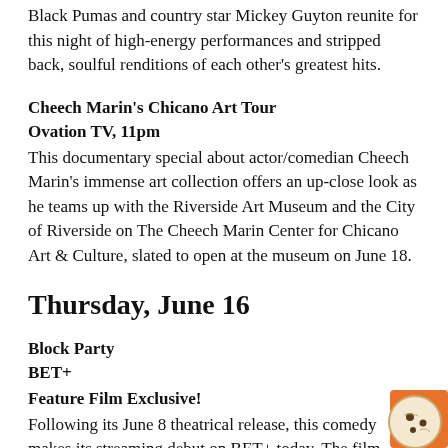Black Pumas and country star Mickey Guyton reunite for this night of high-energy performances and stripped back, soulful renditions of each other's greatest hits.
Cheech Marin's Chicano Art Tour
Ovation TV, 11pm
This documentary special about actor/comedian Cheech Marin's immense art collection offers an up-close look as he teams up with the Riverside Art Museum and the City of Riverside on The Cheech Marin Center for Chicano Art & Culture, slated to open at the museum on June 18.
Thursday, June 16
Block Party
BET+
Feature Film Exclusive!
Following its June 8 theatrical release, this comedy makes its streaming debut on BET+ today. The film follows Keke Mo (Antoinette Robertson), a recent Harvard grad who is eager to ditch her hometown of Grand Rapids, Michigan, for her dream